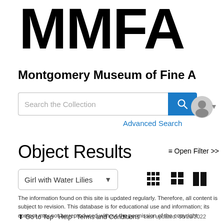MMFA
Montgomery Museum of Fine A
[Figure (screenshot): Search bar with text 'Search the Collection', blue search button with magnifying glass icon, and 'Advanced Search' link below]
[Figure (illustration): User account icon (gray circle with person silhouette) with dropdown arrow]
Object Results
≡ Open Filter >>
Girl with Water Lilies
[Figure (other): Three grid view toggle icons: small grid, medium grid, large grid]
The information found on this site is updated regularly. Therefore, all content is subject to revision. This database is for educational use and information; its content may not be reproduced without the permission of the copyright
↑ Go to Top  Help  Terms and Conditions  Last updated: 08/26/2022